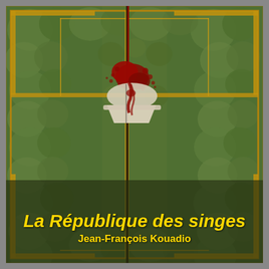[Figure (illustration): Book cover for 'La République des singes' by Jean-François Kouadio. The cover art shows an aerial or top-down view of a dense green foliage/maze-like background with golden/orange geometric border decorations forming a cross or rectangular frame pattern. In the center-upper area, there is a white colonial-style hat (pith helmet) with dark blood spatters dripping on it, and a dark pole or spike going vertically through the center of the image from top to bottom. The overall color palette is dark green, amber/gold, and crimson red.]
La République des singes
Jean-François Kouadio